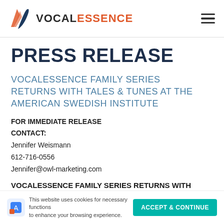VOCALESSENCE
PRESS RELEASE
VOCALESSENCE FAMILY SERIES RETURNS WITH TALES & TUNES AT THE AMERICAN SWEDISH INSTITUTE
FOR IMMEDIATE RELEASE
CONTACT:
Jennifer Weismann
612-716-0556
Jennifer@owl-marketing.com
VOCALESSENCE FAMILY SERIES RETURNS WITH TALES & TUNES AT THE AMERICAN SWEDISH INSTITUTE
This website uses cookies for necessary functions to enhance your browsing experience.